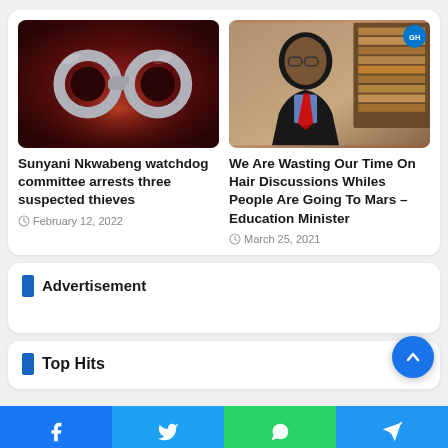[Figure (photo): Handcuffs on a dark red surface with police lights]
Sunyani Nkwabeng watchdog committee arrests three suspected thieves
February 12, 2022
[Figure (photo): Education Minister in black suit with red tie seated in office]
We Are Wasting Our Time On Hair Discussions Whiles People Are Going To Mars – Education Minister
March 25, 2021
Advertisement
Top Hits